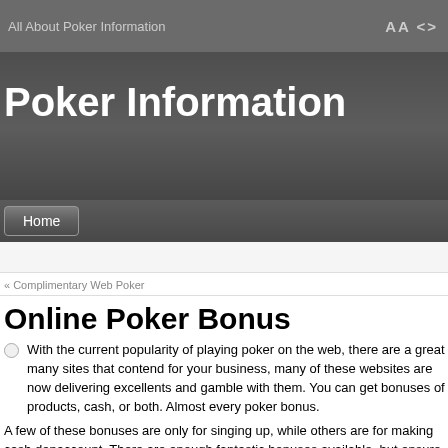All About Poker Information
Poker Information
Home
« Complimentary Web Poker
Online Poker Bonus
With the current popularity of playing poker on the web, there are a great many sites that contend for your business, many of these websites are now delivering excellent incentives to sign up and gamble with them. You can get bonuses of products, cash, or both. Almost every site offers a poker bonus.
A few of these bonuses are only for singing up, while others are for making cash deposits into your account. There are enough fantastic bonuses available, but ensure you read the terms of the bonus offers. Finding an excellent online poker bonus is as important as locating an a...